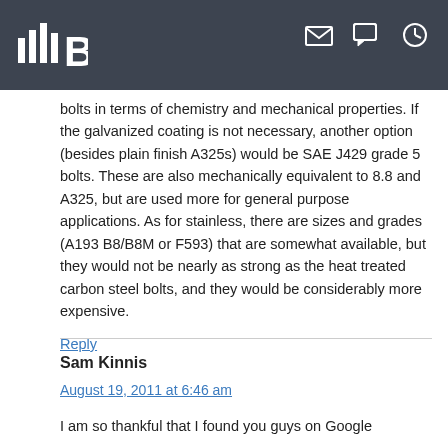bolts in terms of chemistry and mechanical properties. If the galvanized coating is not necessary, another option (besides plain finish A325s) would be SAE J429 grade 5 bolts. These are also mechanically equivalent to 8.8 and A325, but are used more for general purpose applications. As for stainless, there are sizes and grades (A193 B8/B8M or F593) that are somewhat available, but they would not be nearly as strong as the heat treated carbon steel bolts, and they would be considerably more expensive.
Reply
Sam Kinnis
August 19, 2011 at 6:46 am
I am so thankful that I found you guys on Google